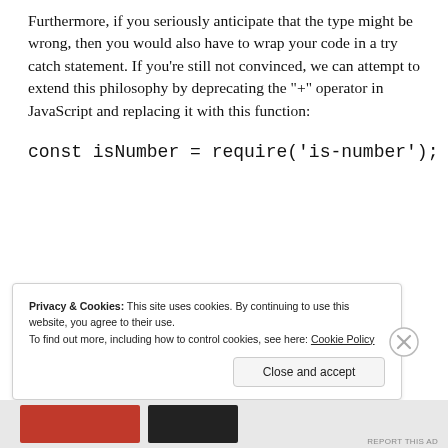Furthermore, if you seriously anticipate that the type might be wrong, then you would also have to wrap your code in a try catch statement. If you're still not convinced, we can attempt to extend this philosophy by deprecating the "+" operator in JavaScript and replacing it with this function:
const isNumber = require('is-number');
Privacy & Cookies: This site uses cookies. By continuing to use this website, you agree to their use.
To find out more, including how to control cookies, see here: Cookie Policy